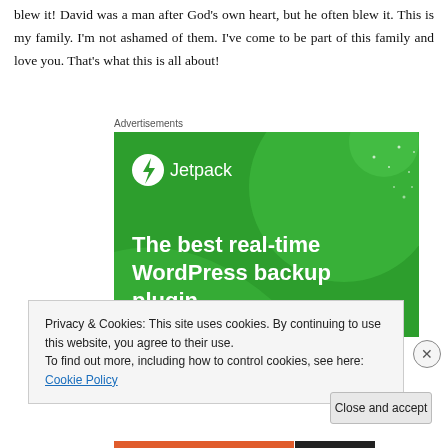blew it! David was a man after God's own heart, but he often blew it. This is my family. I'm not ashamed of them. I've come to be part of this family and love you. That's what this is all about!
Advertisements
[Figure (screenshot): Jetpack advertisement banner with green background showing text 'The best real-time WordPress backup plugin' with Jetpack logo]
Privacy & Cookies: This site uses cookies. By continuing to use this website, you agree to their use.
To find out more, including how to control cookies, see here: Cookie Policy